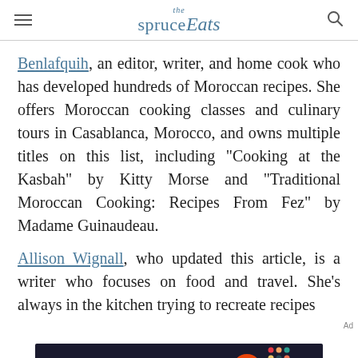the spruce Eats
Benlafquih, an editor, writer, and home cook who has developed hundreds of Moroccan recipes. She offers Moroccan cooking classes and culinary tours in Casablanca, Morocco, and owns multiple titles on this list, including "Cooking at the Kasbah" by Kitty Morse and "Traditional Moroccan Cooking: Recipes From Fez" by Madame Guinaudeau.
Allison Wignall, who updated this article, is a writer who focuses on food and travel. She’s always in the kitchen trying to recreate recipes
[Figure (logo): Dotdash Meredith advertisement banner: 'We help people find answers, solve problems and get inspired.' with Dotdash Meredith logo]